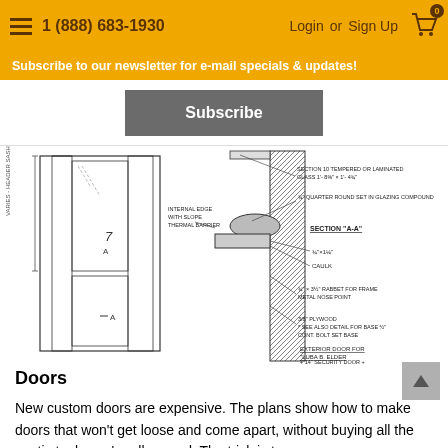1 (888) 683-1930  Login or Sign Up  0
Subscribe to our newsletter for e-mail specials & updates!
Subscribe
[Figure (engineering-diagram): Architectural/engineering door section drawing showing door elevation on left and a detailed cross-section labeled 'Section A-A' on the right. The section shows tempered or laminated glass, quarter round set in glazing compound, frame details (3/4"x1 1/4" rabbet for frame, metal noseplint), 3/8" plywood, and notes for exterior door. Title block reads 'Exterior Door for ...' with date and initials.]
Doors
New custom doors are expensive. The plans show how to make doors that won't get loose and come apart, without buying all the exotic tools you're all around. The trick is to...